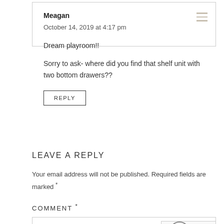Meagan
October 14, 2019 at 4:17 pm
Dream playroom!!
Sorry to ask- where did you find that shelf unit with two bottom drawers??
REPLY
LEAVE A REPLY
Your email address will not be published. Required fields are marked *
COMMENT *